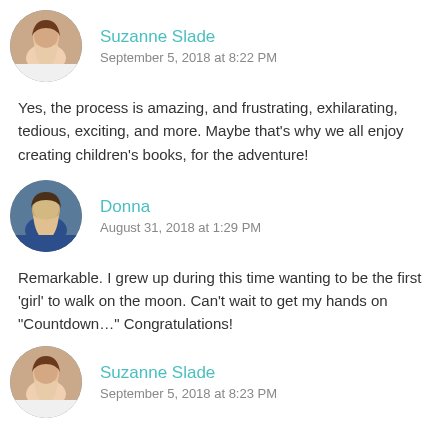[Figure (photo): Circular avatar photo of Suzanne Slade, a woman with dark hair]
Suzanne Slade
September 5, 2018 at 8:22 PM
Yes, the process is amazing, and frustrating, exhilarating, tedious, exciting, and more. Maybe that’s why we all enjoy creating children’s books, for the adventure!
[Figure (photo): Circular avatar photo of Donna, a woman with short dark hair]
Donna
August 31, 2018 at 1:29 PM
Remarkable. I grew up during this time wanting to be the first ‘girl’ to walk on the moon. Can’t wait to get my hands on “Countdown…” Congratulations!
[Figure (photo): Circular avatar photo of Suzanne Slade, a woman with dark hair]
Suzanne Slade
September 5, 2018 at 8:23 PM